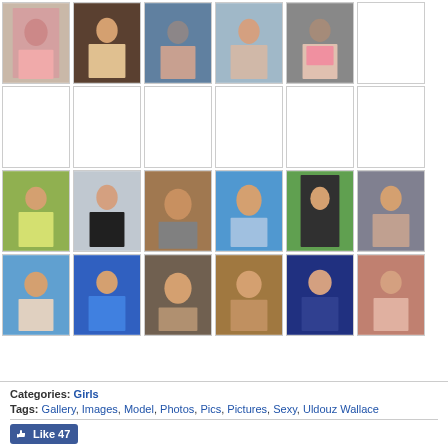[Figure (photo): Grid of thumbnail photos - row 1: 5 visible female model photos, 1 empty]
[Figure (photo): Grid of thumbnail photos - row 2: 6 empty/white thumbnail placeholders]
[Figure (photo): Grid of thumbnail photos - row 3: 6 female model photos]
[Figure (photo): Grid of thumbnail photos - row 4: 6 female model photos]
Categories: Girls
Tags: Gallery, Images, Model, Photos, Pics, Pictures, Sexy, Uldouz Wallace
[Figure (other): Facebook Like button showing 47 likes]